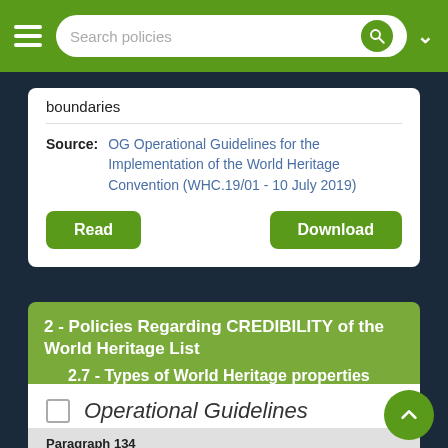Search policies
boundaries
Source: OG Operational Guidelines for the Implementation of the World Heritage Convention (WHC.19/01 - 10 July 2019)
Read
Download
2 - Policies Regarding CREDIBILITY of the World Heritage List
2.7 - Types of World Heritage properties
Operational Guidelines
Paragraph 134